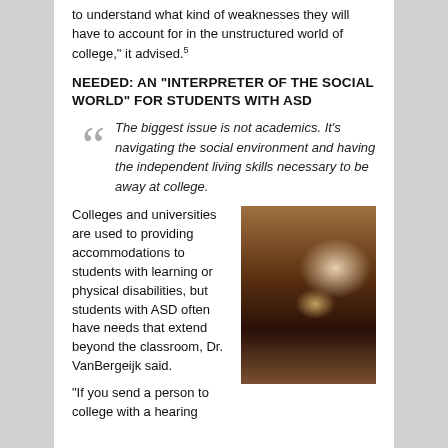to understand what kind of weaknesses they will have to account for in the unstructured world of college," it advised.5
NEEDED: AN "INTERPRETER OF THE SOCIAL WORLD" FOR STUDENTS WITH ASD
The biggest issue is not academics. It's navigating the social environment and having the independent living skills necessary to be away at college.
Colleges and universities are used to providing accommodations to students with learning or physical disabilities, but students with ASD often have needs that extend beyond the classroom, Dr. VanBergeijk said.
[Figure (photo): Overhead view of a student lying on a wooden floor surrounded by papers and books, appearing stressed or exhausted]
"If you send a person to college with a hearing